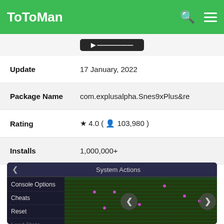ToToMan
| Field | Value |
| --- | --- |
| Update | 17 January, 2022 |
| Package Name | com.explusalpha.Snes9xPlus&re |
| Rating | ★ 4.0 ( 👤 103,980 ) |
| Installs | 1,000,000+ |
[Figure (screenshot): App screenshot showing System Actions menu with options: Console Options, Cheats, Reset, Load State, Save State, State Slot (0). Background shows SNES game grid.]